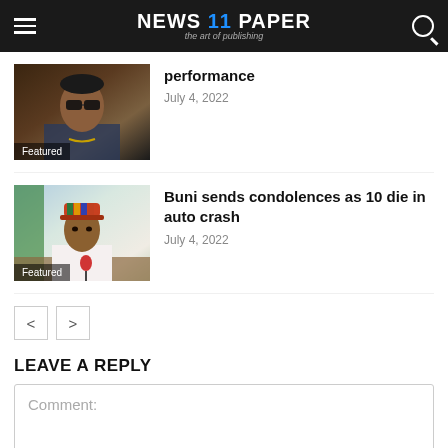NEWS 11 PAPER — the art of publishing
performance
July 4, 2022
[Figure (photo): Man wearing sunglasses, Featured badge]
Buni sends condolences as 10 die in auto crash
July 4, 2022
[Figure (photo): Man in colorful cap sitting at desk with microphone, Featured badge]
< >
LEAVE A REPLY
Comment: